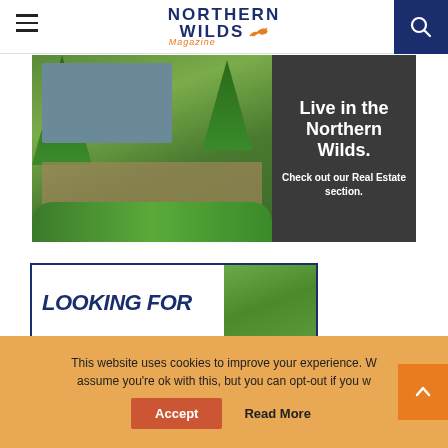Northern Wilds Magazine
[Figure (photo): Advertisement banner for Northern Wilds Real Estate section showing a lakeside cabin with deck surrounded by trees and lush greenery. Right side has dark gray background with text: 'Live in the Northern Wilds. Check out our Real Estate section.']
[Figure (photo): Partial view of a second advertisement card with dark blue border showing 'LOOKING FOR' text in large italic uppercase letters and a nature/forest photo on the right side.]
This website uses cookies to improve your experience. We'll assume you're ok with this, but you can opt-out if you wish.
Accept
Read More